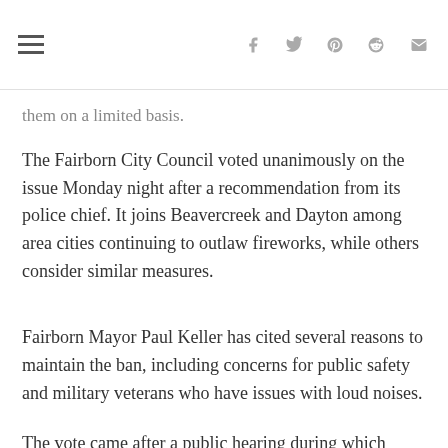them on a limited basis.
The Fairborn City Council voted unanimously on the issue Monday night after a recommendation from its police chief. It joins Beavercreek and Dayton among area cities continuing to outlaw fireworks, while others consider similar measures.
Fairborn Mayor Paul Keller has cited several reasons to maintain the ban, including concerns for public safety and military veterans who have issues with loud noises.
The vote came after a public hearing during which